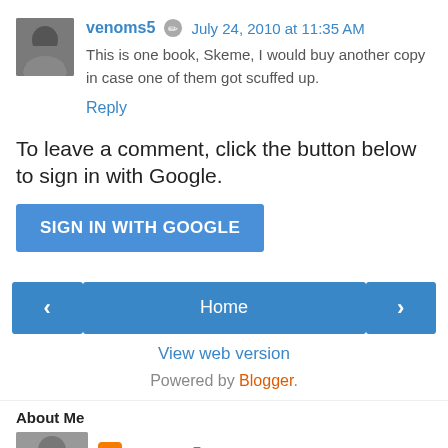[Figure (photo): Avatar photo of user venoms5, a person's face in a small square thumbnail]
venoms5 ✏ July 24, 2010 at 11:35 AM
This is one book, Skeme, I would buy another copy in case one of them got scuffed up.
Reply
To leave a comment, click the button below to sign in with Google.
SIGN IN WITH GOOGLE
‹
Home
›
View web version
Powered by Blogger.
About Me
venoms5